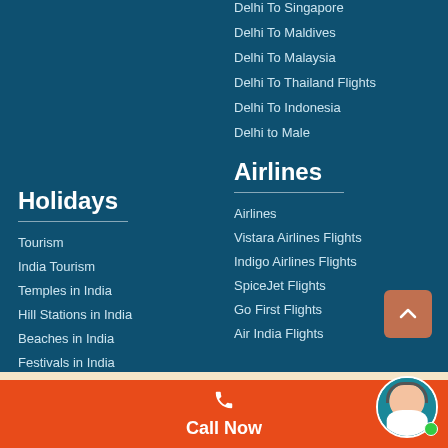Delhi To Singapore
Delhi To Maldives
Delhi To Malaysia
Delhi To Thailand Flights
Delhi To Indonesia
Delhi to Male
Holidays
Tourism
India Tourism
Temples in India
Hill Stations in India
Beaches in India
Festivals in India
Airlines
Airlines
Vistara Airlines Flights
Indigo Airlines Flights
SpiceJet Flights
Go First Flights
Air India Flights
Call Now